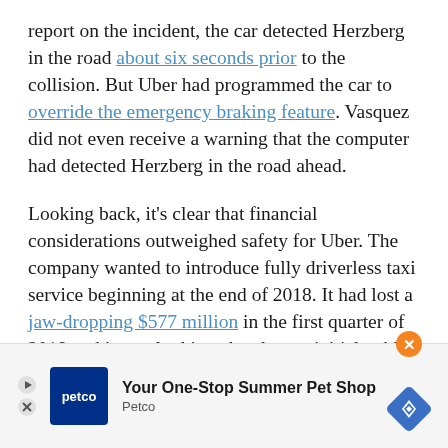report on the incident, the car detected Herzberg in the road about six seconds prior to the collision. But Uber had programmed the car to override the emergency braking feature. Vasquez did not even receive a warning that the computer had detected Herzberg in the road ahead.
Looking back, it’s clear that financial considerations outweighed safety for Uber. The company wanted to introduce fully driverless taxi service beginning at the end of 2018. It had lost a jaw-dropping $577 million in the first quarter of 2018 and it was looking ahead to an initial public offering in 2019.
In thi... reckle... who
[Figure (other): Advertisement overlay for Petco 'Your One-Stop Summer Pet Shop' with orange close button and blue diamond navigation icon]